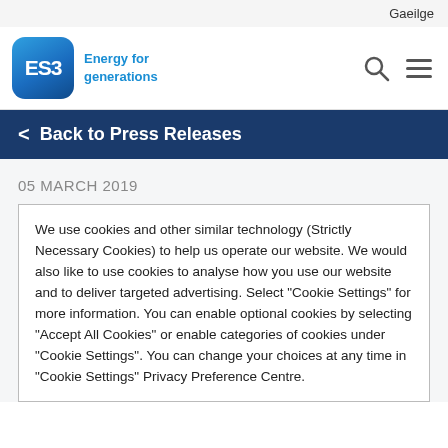Gaeilge
[Figure (logo): ESB Energy for generations logo — blue rounded square with ESB text and tagline]
< Back to Press Releases
05 MARCH 2019
We use cookies and other similar technology (Strictly Necessary Cookies) to help us operate our website. We would also like to use cookies to analyse how you use our website and to deliver targeted advertising. Select “Cookie Settings” for more information. You can enable optional cookies by selecting “Accept All Cookies” or enable categories of cookies under “Cookie Settings”. You can change your choices at any time in “Cookie Settings” Privacy Preference Centre.